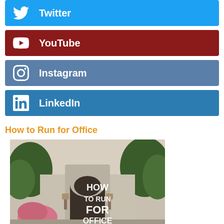Twitter
YouTube
Instagram
LinkedIn
How to Run for Office
[Figure (photo): Thumbnail image of a stone gate archway with text overlay reading HOW TO RUN FOR OFFICE, flanked by green trees and pink flowers]
Article: How to Run for Political Office in 2018